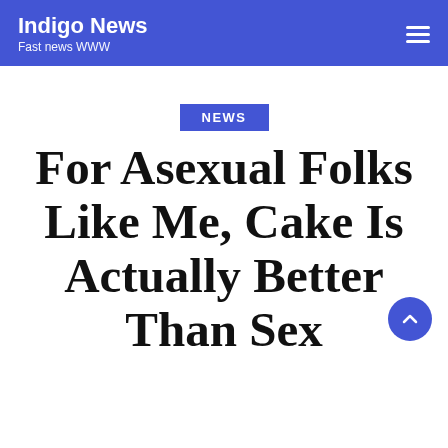Indigo News
Fast news WWW
NEWS
For Asexual Folks Like Me, Cake Is Actually Better Than Sex